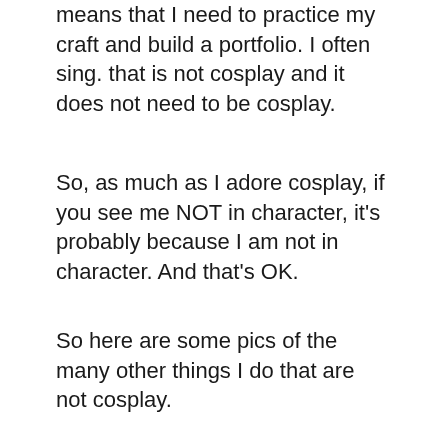means that I need to practice my craft and build a portfolio. I often sing. that is not cosplay and it does not need to be cosplay.
So, as much as I adore cosplay, if you see me NOT in character, it's probably because I am not in character. And that's OK.
So here are some pics of the many other things I do that are not cosplay.